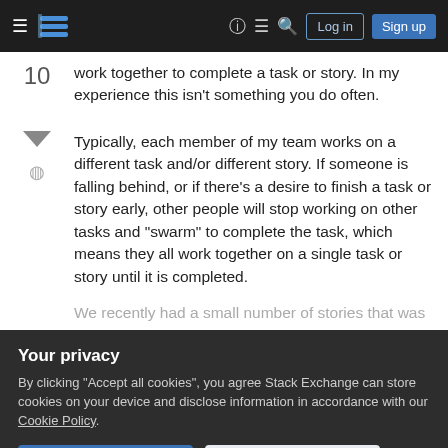[Figure (screenshot): Stack Exchange navigation bar with hamburger menu, logo, help icon, inbox icon, search icon, Log in and Sign up buttons on dark background]
work together to complete a task or story. In my experience this isn't something you do often.
Typically, each member of my team works on a different task and/or different story. If someone is falling behind, or if there's a desire to finish a task or story early, other people will stop working on other tasks and "swarm" to complete the task, which means they all work together on a single task or story until it is completed.
We recently had a small number of stories that was
Your privacy
By clicking "Accept all cookies", you agree Stack Exchange can store cookies on your device and disclose information in accordance with our Cookie Policy.
out of the way early, then each team member went